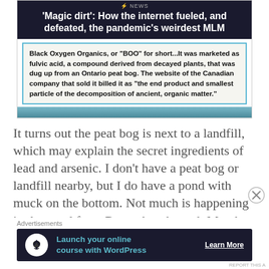[Figure (screenshot): News article screenshot showing headline: '"Magic dirt": How the internet fueled, and defeated, the pandemic's weirdest MLM' with a quote box about Black Oxygen Organics (BOO)]
Black Oxygen Organics, or "BOO" for short...It was marketed as fulvic acid, a compound derived from decayed plants, that was dug up from an Ontario peat bog. The website of the Canadian company that sold it billed it as "the end product and smallest particle of the decomposition of ancient, organic matter."
It turns out the peat bog is next to a landfill, which may explain the secret ingredients of lead and arsenic. I don’t have a peat bog or landfill nearby, but I do have a pond with muck on the bottom. Not much is happening in the pond from December through March.
Advertisements
[Figure (screenshot): Advertisement banner: 'Launch your online course with WordPress' with Learn More button]